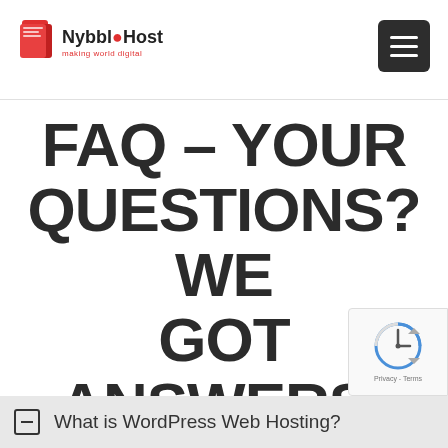NybbleHost - making world digital
FAQ - YOUR QUESTIONS? WE GOT ANSWERS!
What is WordPress Web Hosting?